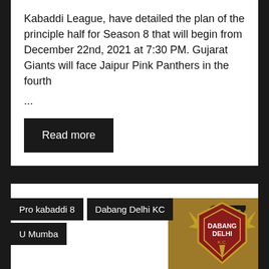Kabaddi League, have detailed the plan of the principle half for Season 8 that will begin from December 22nd, 2021 at 7:30 PM. Gujarat Giants will face Jaipur Pink Panthers in the fourth ...
Read more
Pro kabaddi 8
Dabang Delhi KC
U Mumba
[Figure (logo): Dabang Delhi KC logo on golden/brown background with number 07]